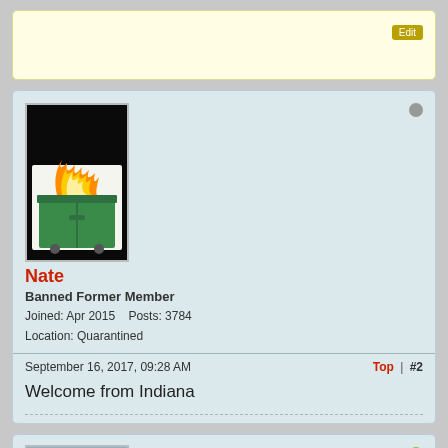[Figure (screenshot): Top portion of a forum post (yellow background, partial view, edit button visible)]
[Figure (illustration): User avatar: dumpster fire drawing - green dumpster with orange flames on black background]
Nate
Banned Former Member
Joined: Apr 2015    Posts: 3784
Location: Quarantined
September 16, 2017, 09:28 AM
Top | #2
Welcome from Indiana
[Figure (photo): Partial view of a user avatar photo: man wearing a beige cap with 'Vintage Dude' text]